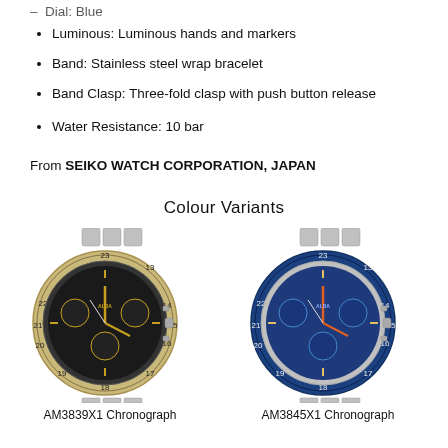Dial: Blue
Luminous: Luminous hands and markers
Band: Stainless steel wrap bracelet
Band Clasp: Three-fold clasp with push button release
Water Resistance: 10 bar
From SEIKO WATCH CORPORATION, JAPAN
Colour Variants
[Figure (photo): AM3839X1 Chronograph watch with black dial, gold-tone bezel and hands, stainless steel bracelet]
AM3839X1 Chronograph
[Figure (photo): AM3845X1 Chronograph watch with blue dial, blue bezel, orange hands, stainless steel bracelet]
AM3845X1 Chronograph